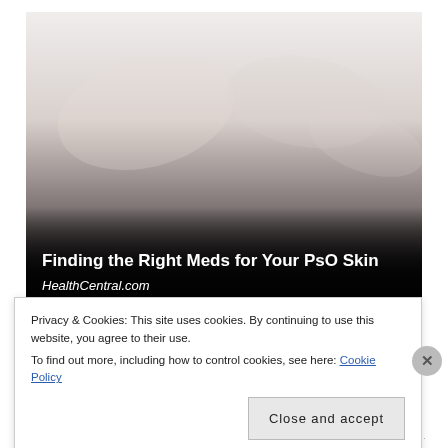[Figure (photo): Close-up photo of hands, fading from light at top to dark grey/black at bottom, used as a hero image for a medical article about psoriasis skin medications.]
Finding the Right Meds for Your PsO Skin
HealthCentral.com
Privacy & Cookies: This site uses cookies. By continuing to use this website, you agree to their use.
To find out more, including how to control cookies, see here: Cookie Policy
Close and accept